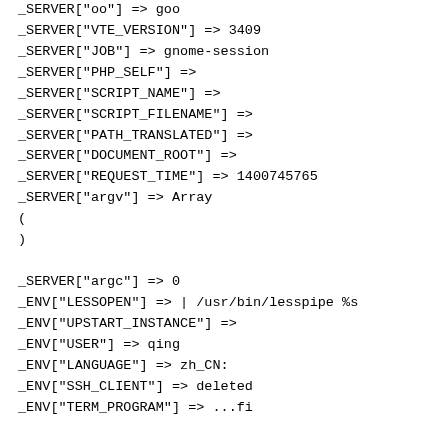_SERVER["oo"] => goo
_SERVER["VTE_VERSION"] => 3409
_SERVER["JOB"] => gnome-session
_SERVER["PHP_SELF"] =>
_SERVER["SCRIPT_NAME"] =>
_SERVER["SCRIPT_FILENAME"] =>
_SERVER["PATH_TRANSLATED"] =>
_SERVER["DOCUMENT_ROOT"] =>
_SERVER["REQUEST_TIME"] => 1400745765
_SERVER["argv"] => Array
(
)

_SERVER["argc"] => 0
_ENV["LESSOPEN"] => | /usr/bin/lesspipe %s
_ENV["UPSTART_INSTANCE"] =>
_ENV["USER"] => qing
_ENV["LANGUAGE"] => zh_CN:
_ENV["SSH_CLIENT"] => deleted
_ENV["TERM_PROGRAM"] => ...fi